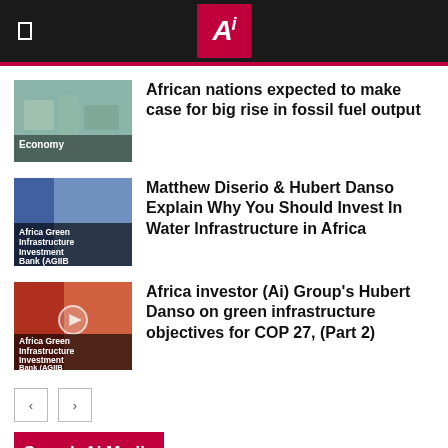Ai (Africa Investor) logo header
[Figure (photo): Aerial view of industrial/oil facility with Economy label overlay]
African nations expected to make case for big rise in fossil fuel output
[Figure (photo): Africa Green Infrastructure Investment Bank (AGIIB) thumbnail image]
Matthew Diserio & Hubert Danso Explain Why You Should Invest In Water Infrastructure in Africa
[Figure (photo): Africa Green Infrastructure Investment Bank (AGIIB) thumbnail with play icon]
Africa investor (Ai) Group's Hubert Danso on green infrastructure objectives for COP 27, (Part 2)
Search Ai Media